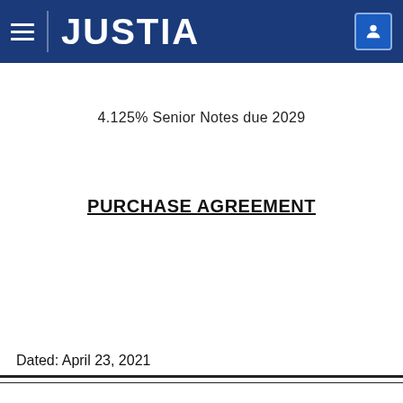JUSTIA
4.125% Senior Notes due 2029
PURCHASE AGREEMENT
Dated: April 23, 2021